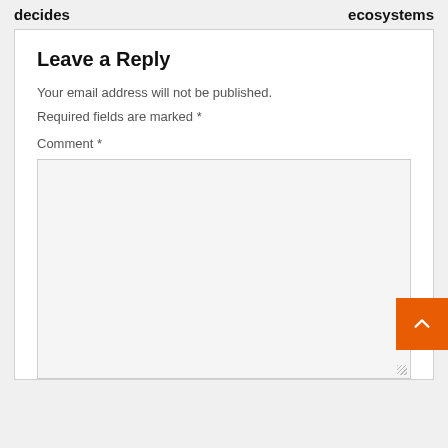decides	ecosystems
Leave a Reply
Your email address will not be published. Required fields are marked *
Comment *
[Figure (screenshot): Empty comment text area input box with light gray background and resize handle]